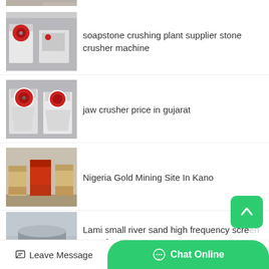[Figure (photo): Partial top thumbnail of industrial machinery, cropped]
soapstone crushing plant supplier stone crusher machine
jaw crusher price in gujarat
Nigeria Gold Mining Site In Kano
Lami small river sand high frequency screen manufacturer
Leave Message    Chat Online